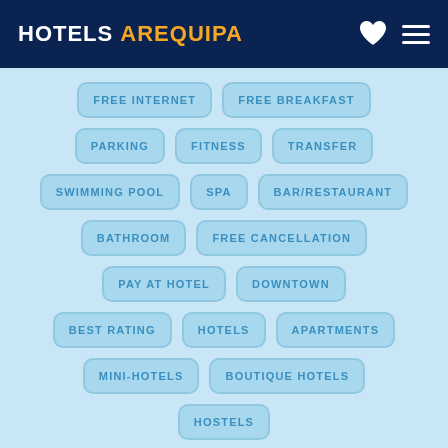HOTELS AREQUIPA
FREE INTERNET
FREE BREAKFAST
PARKING
FITNESS
TRANSFER
SWIMMING POOL
SPA
BAR/RESTAURANT
BATHROOM
FREE CANCELLATION
PAY AT HOTEL
DOWNTOWN
BEST RATING
HOTELS
APARTMENTS
MINI-HOTELS
BOUTIQUE HOTELS
HOSTELS